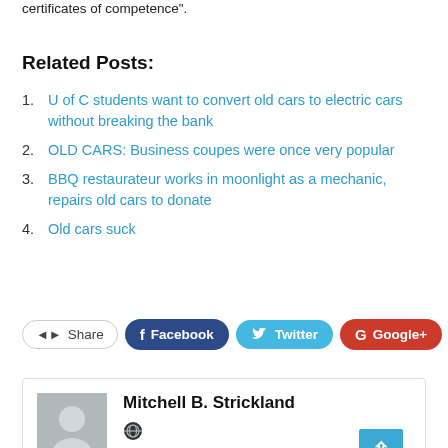certificates of competence".
Related Posts:
U of C students want to convert old cars to electric cars without breaking the bank
OLD CARS: Business coupes were once very popular
BBQ restaurateur works in moonlight as a mechanic, repairs old cars to donate
Old cars suck
[Figure (other): Social sharing buttons: Share, Facebook, Twitter, Google+, and a plus button]
[Figure (other): Author box with avatar silhouette and name Mitchell B. Strickland with a globe icon]